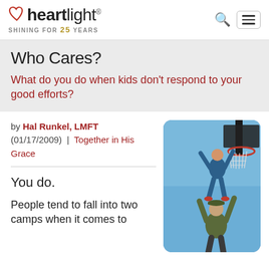heartlight® — SHINING FOR 25 YEARS
Who Cares?
What do you do when kids don't respond to your good efforts?
by Hal Runkel, LMFT (01/17/2009) | Together in His Grace
[Figure (photo): A man lifting a child up toward a basketball hoop outdoors against a blue sky]
You do.
People tend to fall into two camps when it comes to